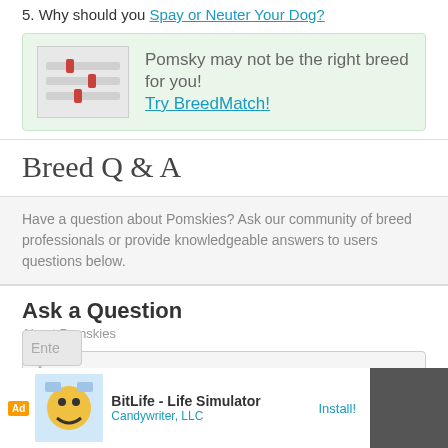5. Why should you Spay or Neuter Your Dog?
[Figure (illustration): Icon showing sliders/settings on a document]
Pomsky may not be the right breed for you! Try BreedMatch!
Breed Q & A
Have a question about Pomskies? Ask our community of breed professionals or provide knowledgeable answers to users questions below.
Ask a Question
About Pomskies
Anonymous
email@domain.com
[Figure (screenshot): Ad bar: BitLife - Life Simulator by Candywriter, LLC with Install button]